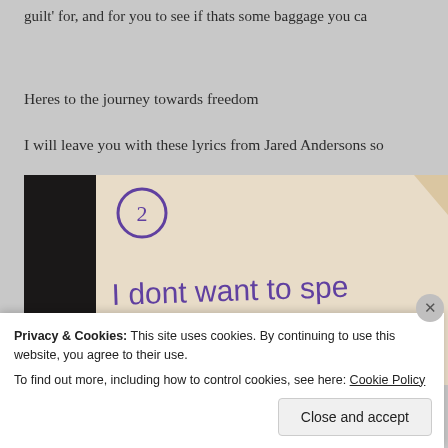guilt' for, and for you to see if thats some baggage you ca
Heres to the journey towards freedom
I will leave you with these lyrics from Jared Andersons so
[Figure (photo): Handwritten note on paper with dark left strip. Shows a circled number 2 and handwritten text reading 'I dont want to spe' and 'look...' in purple ink.]
Privacy & Cookies: This site uses cookies. By continuing to use this website, you agree to their use.
To find out more, including how to control cookies, see here: Cookie Policy
Close and accept